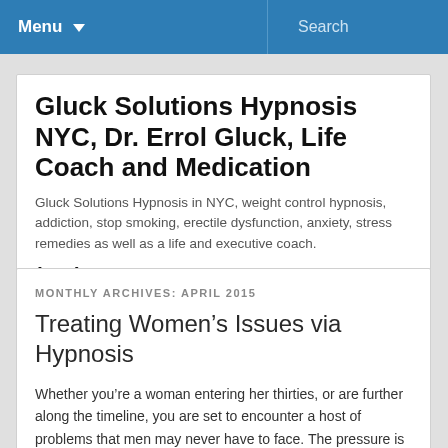Menu ▼   Search
Gluck Solutions Hypnosis NYC, Dr. Errol Gluck, Life Coach and Medication
Gluck Solutions Hypnosis in NYC, weight control hypnosis, addiction, stop smoking, erectile dysfunction, anxiety, stress remedies as well as a life and executive coach.
(212) 599-3195
MONTHLY ARCHIVES: APRIL 2015
Treating Women's Issues via Hypnosis
Whether you're a woman entering her thirties, or are further along the timeline, you are set to encounter a host of problems that men may never have to face. The pressure is more intense if you're making a living in NYC. Being single isn't sufficient reason for people to go easy